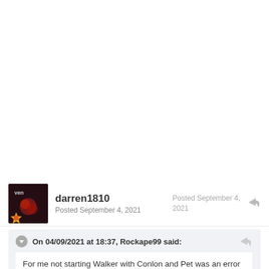darren1810
Posted September 4, 2021
Posted September 4, 2021
On 04/09/2021 at 18:37, Rockape99 said:
For me not starting Walker with Conlon and Pet was an error as Walker is the defensive rock that enables conlon and Pett to cause havoc. Today conlon got marked out of